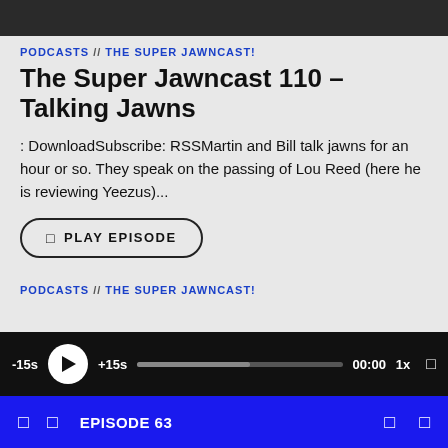[Figure (screenshot): Dark gray top image bar (partial image)]
PODCASTS // THE SUPER JAWNCAST!
The Super Jawncast 110 – Talking Jawns
: DownloadSubscribe: RSSMartin and Bill talk jawns for an hour or so. They speak on the passing of Lou Reed (here he is reviewing Yeezus)...
PLAY EPISODE
PODCASTS // THE SUPER JAWNCAST!
[Figure (screenshot): Podcast audio player bar with -15s, play button, +15s, progress bar, 00:00, 1x and expand icon on black background]
[Figure (screenshot): Blue bottom bar showing EPISODE 63 with navigation icons]